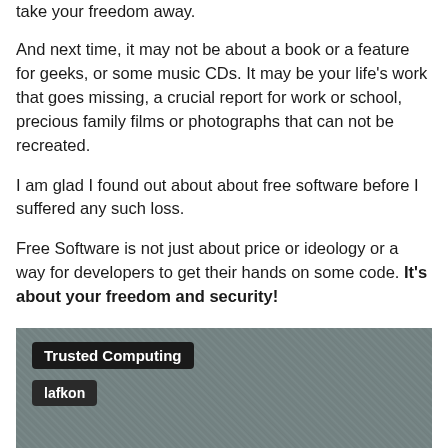take your freedom away.
And next time, it may not be about a book or a feature for geeks, or some music CDs. It may be your life’s work that goes missing, a crucial report for work or school, precious family films or photographs that can not be recreated.
I am glad I found out about about free software before I suffered any such loss.
Free Software is not just about price or ideology or a way for developers to get their hands on some code. It’s about your freedom and security!
I trust the software I use, do you?
[Figure (photo): A photo/video thumbnail with dark overlay labels reading 'Trusted Computing' and 'lafkon' on a textured grey background]